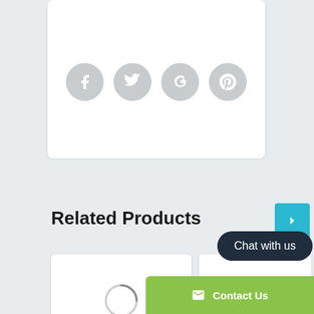[Figure (screenshot): Top white card with social sharing icons (Facebook, Twitter, Google+, Pinterest) shown as gray circles]
Related Products
[Figure (screenshot): Navigation next button (cyan/teal right arrow)]
[Figure (screenshot): Product card left: loading spinner, title 'Absorbine - Silver Honey Rapid Wound']
[Figure (screenshot): Product card right: loading spinner, title partially visible 'Ab... Hone...']
Chat with us
Contact Us